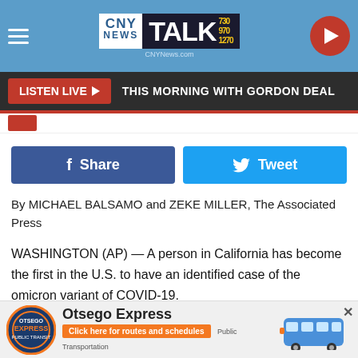[Figure (screenshot): CNY News Talk 730/970/1270 website header with hamburger menu, logo, and play button on blue background]
[Figure (screenshot): Listen Live button bar in dark gray with 'THIS MORNING WITH GORDON DEAL' text]
[Figure (screenshot): Facebook Share button (dark blue) and Twitter Tweet button (light blue)]
By MICHAEL BALSAMO and ZEKE MILLER, The Associated Press
WASHINGTON (AP) — A person in California has become the first in the U.S. to have an identified case of the omicron variant of COVID-19.
Dr. Anthony Fauci said the person was a traveler who returned from South Africa on Nov. 22 and tested positive on Nov. 29.
[Figure (screenshot): Otsego Express advertisement banner with logo, bus image, and 'Click here for routes and schedules' button]